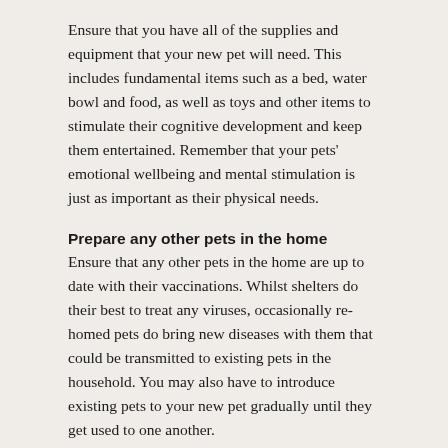Ensure that you have all of the supplies and equipment that your new pet will need. This includes fundamental items such as a bed, water bowl and food, as well as toys and other items to stimulate their cognitive development and keep them entertained. Remember that your pets' emotional wellbeing and mental stimulation is just as important as their physical needs.
Prepare any other pets in the home
Ensure that any other pets in the home are up to date with their vaccinations. Whilst shelters do their best to treat any viruses, occasionally re-homed pets do bring new diseases with them that could be transmitted to existing pets in the household. You may also have to introduce existing pets to your new pet gradually until they get used to one another.
Register with a Veterinarian